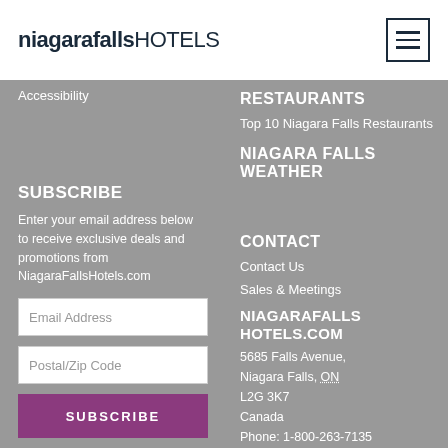niagarafallsHOTELS
Accessibility
RESTAURANTS
Top 10 Niagara Falls Restaurants
NIAGARA FALLS WEATHER
SUBSCRIBE
Enter your email address below to receive exclusive deals and promotions from NiagaraFallsHotels.com
Email Address
Postal/Zip Code
SUBSCRIBE
You may unsubscribe at any time
CONTACT
Contact Us
Sales & Meetings
NIAGARAFALLS HOTELS.COM
5685 Falls Avenue, Niagara Falls, ON L2G 3K7 Canada Phone: 1-800-263-7135